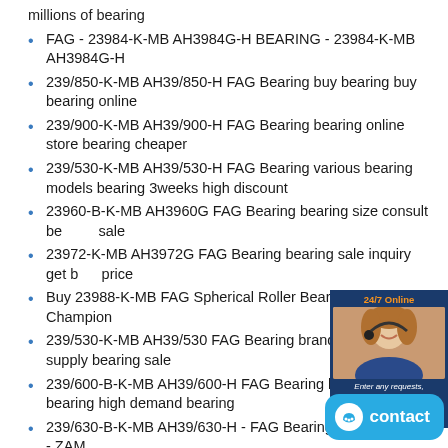millions of bearing
FAG - 23984-K-MB AH3984G-H BEARING - 23984-K-MB AH3984G-H
239/850-K-MB AH39/850-H FAG Bearing buy bearing buy bearing online
239/900-K-MB AH39/900-H FAG Bearing bearing online store bearing cheaper
239/530-K-MB AH39/530-H FAG Bearing various bearing models bearing 3weeks high discount
23960-B-K-MB AH3960G FAG Bearing bearing size consult bearing sale
23972-K-MB AH3972G FAG Bearing bearing sale inquiry get best price
Buy 23988-K-MB FAG Spherical Roller Bearings - Champion
239/530-K-MB AH39/530 FAG Bearing brand bearing supply bearing sale
239/600-B-K-MB AH39/600-H FAG Bearing low noise bearing high demand bearing
239/630-B-K-MB AH39/630-H - FAG Bearing - FAG French - ZAM
23992-B-K-MB AH3992-H FAG Bearing bearing shop online genuine bearing expert
239/710-K-MB AH39/710-H FAG Bearing world class bearing online
[Figure (infographic): 24/7 Online chat widget with customer service representative photo, quotation button, dark blue background]
[Figure (infographic): Blue contact button with smiley face icon]